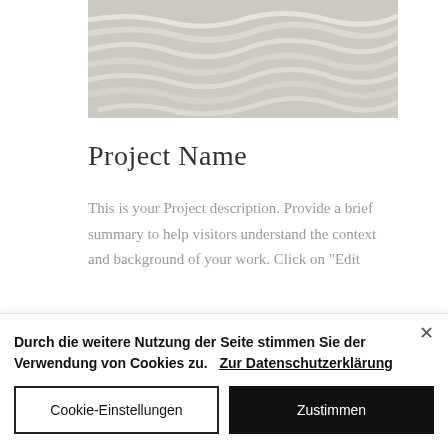[Figure (photo): Close-up photo of light-colored wavy ridge texture, sandy/plaster surface with parallel curved lines]
Project Name
This is your Project description. Provide a brief summary to help visitors understand the context and background of your work. Click on "Edit
Durch die weitere Nutzung der Seite stimmen Sie der Verwendung von Cookies zu.  Zur Datenschutzerklärung
Cookie-Einstellungen
Zustimmen